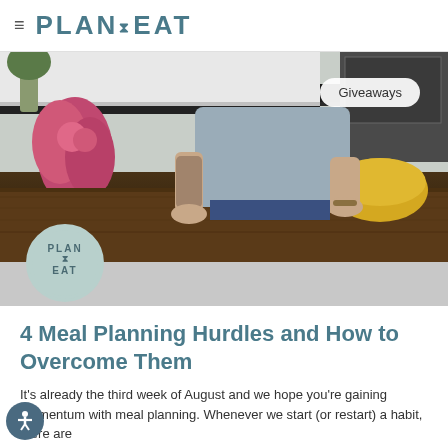≡ PLAN TO EAT
[Figure (photo): Person preparing food on a wooden kitchen counter with vegetables, a bowl, and a yellow mixing bowl. Pink flowers in a vase on the left. A 'Giveaways' badge is shown in the top right of the image.]
4 Meal Planning Hurdles and How to Overcome Them
It's already the third week of August and we hope you're gaining momentum with meal planning. Whenever we start (or restart) a habit, there are